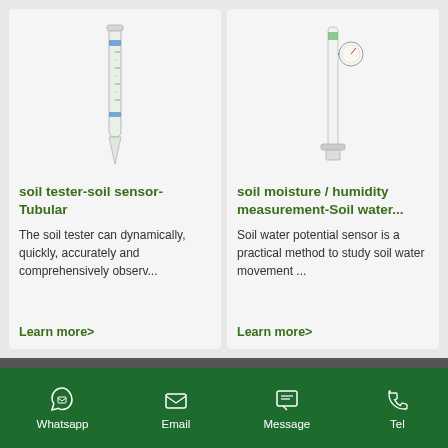[Figure (photo): Soil tester tubular sensor device — a long thin cylindrical instrument with blue markings and a pointed tip]
soil tester-soil sensor-Tubular
The soil tester can dynamically, quickly, accurately and comprehensively observ...
Learn more>
[Figure (photo): Soil moisture humidity measurement device — a white vertical tube with a gauge/dial attached at the top]
soil moisture / humidity measurement-Soil water...
Soil water potential sensor is a practical method to study soil water movement ...
Learn more>
Whatsapp   Email   Message   Tel